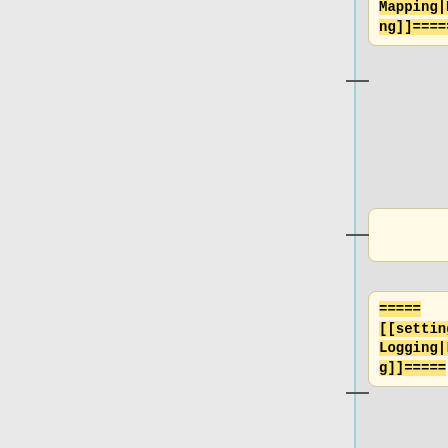====[[settings.php#Mapping|Mapping]]====
(empty card)
====[[settings.php#Logging|Logging]]====
(empty card)
====[[settings.php#Search Engine|Search Engine]]====
(empty card)
====[[settings.php#Languages|Lan...